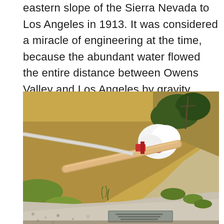eastern slope of the Sierra Nevada to Los Angeles in 1913. It was considered a miracle of engineering at the time, because the abundant water flowed the entire distance between Owens Valley and Los Angeles by gravity alone.
[Figure (photo): Outdoor photograph showing a hillside landscape with dry grass and dirt slopes, a large pipeline running diagonally across the scene, white flowering bushes, trees in the background, and a gravel area with a commemorative plaque in the foreground.]